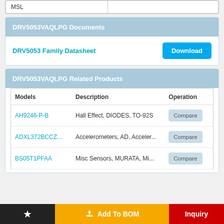| MSL |  |
| --- | --- |
| MSL |  |
DRV5053VAQLPG Documents
DRV5053 Family Datasheet
DRV5053VAQLPG Related Products
| Models | Description | Operation |
| --- | --- | --- |
| AH9246-P-B | Hall Effect, DIODES, TO-92S | Compare |
| ADXL372BCCZ... | Accelerometers, AD, Acceler... | Compare |
| BS05T1PFAA | Misc Sensors, MURATA, Mi... | Compare |
Add To BOM
Inquiry